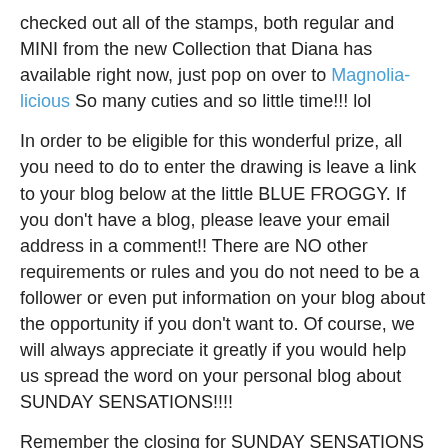checked out all of the stamps, both regular and MINI from the new Collection that Diana has available right now, just pop on over to Magnolia-licious So many cuties and so little time!!! lol
In order to be eligible for this wonderful prize, all you need to do to enter the drawing is leave a link to your blog below at the little BLUE FROGGY. If you don't have a blog, please leave your email address in a comment!! There are NO other requirements or rules and you do not need to be a follower or even put information on your blog about the opportunity if you don't want to. Of course, we will always appreciate it greatly if you would help us spread the word on your personal blog about SUNDAY SENSATIONS!!!!
Remember the closing for SUNDAY SENSATIONS from Magnolia-licious is at midnight EST each Tuesday and the winner is announced on Wednesday! Please be sure to check back on Wednesday to see if you are the lucky winner of these THREE darling accessory stamps!!!!
This collection has been deleted by its author